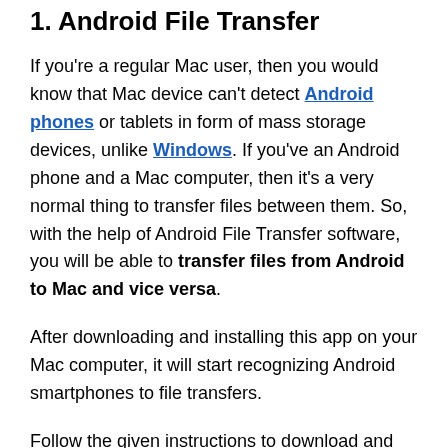1. Android File Transfer
If you're a regular Mac user, then you would know that Mac device can't detect Android phones or tablets in form of mass storage devices, unlike Windows. If you've an Android phone and a Mac computer, then it's a very normal thing to transfer files between them. So, with the help of Android File Transfer software, you will be able to transfer files from Android to Mac and vice versa.
After downloading and installing this app on your Mac computer, it will start recognizing Android smartphones to file transfers.
Follow the given instructions to download and install this app on your computer: